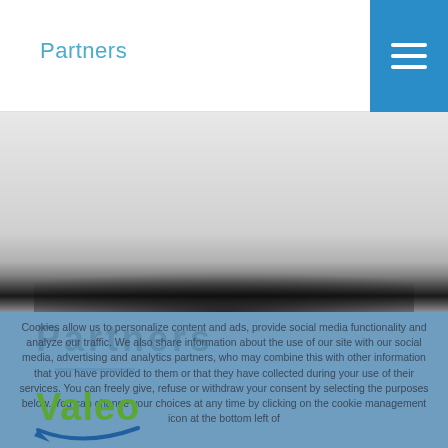Partners
[Figure (photo): Banner image area with gradient background suggesting a blurred automotive or industrial photo with a dark shadow/ellipse effect at the bottom]
Partners
Cookies allow us to personalize content and ads, provide social media functionality and analyze our traffic. We also share information about the use of our site with our social media, advertising and analytics partners, who may combine this with other information that you have provided to them or that they have collected during your use of their services. You can freely give, refuse or withdraw your consent by selecting the purposes below. You can change your choices at any time by clicking on the cookie management icon at the bottom left of
[Figure (logo): Valeo logo in green with blue chevron/check underneath]